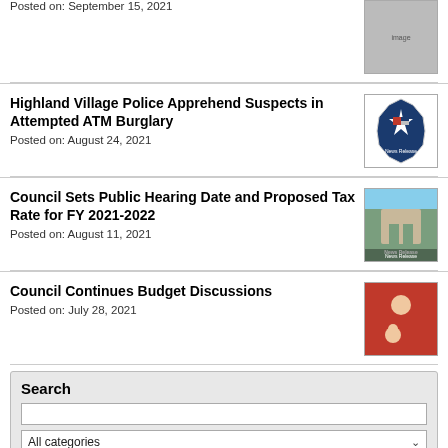Posted on: September 15, 2021
Highland Village Police Apprehend Suspects in Attempted ATM Burglary
Posted on: August 24, 2021
Council Sets Public Hearing Date and Proposed Tax Rate for FY 2021-2022
Posted on: August 11, 2021
Council Continues Budget Discussions
Posted on: July 28, 2021
Search
All categories